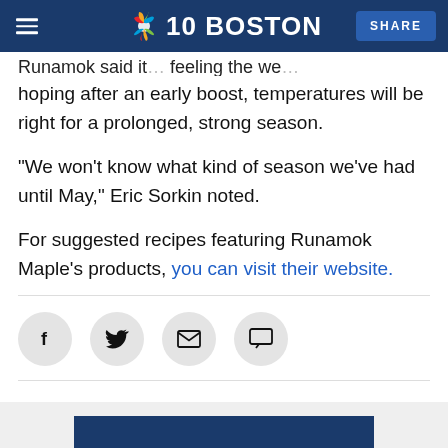NBC10 Boston — SHARE
Runamok said it's been feeling the weather, hoping after an early boost, temperatures will be right for a prolonged, strong season.
“We won’t know what kind of season we’ve had until May,” Eric Sorkin noted.
For suggested recipes featuring Runamok Maple’s products, you can visit their website.
[Figure (other): Social sharing buttons row: Facebook, Twitter, Email, Comment icons in circular grey buttons]